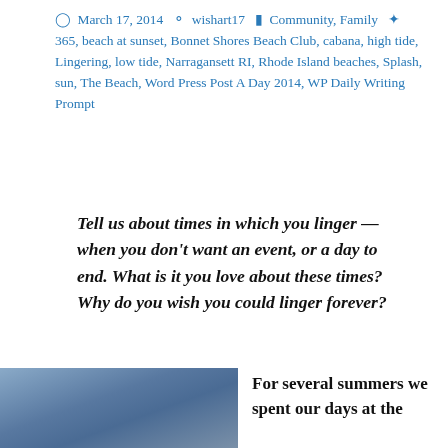March 17, 2014  wishart17  Community, Family  365, beach at sunset, Bonnet Shores Beach Club, cabana, high tide, Lingering, low tide, Narragansett RI, Rhode Island beaches, Splash, sun, The Beach, Word Press Post A Day 2014, WP Daily Writing Prompt
Tell us about times in which you linger — when you don't want an event, or a day to end. What is it you love about these times? Why do you wish you could linger forever?
[Figure (photo): Beach scene with gradient sky, blue and grey tones, partial view]
For several summers we spent our days at the